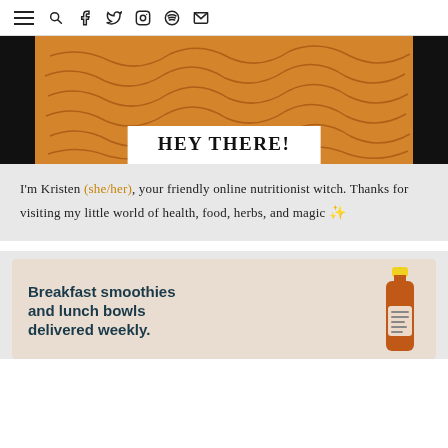Navigation bar with hamburger menu and icons: search, facebook, twitter, instagram, spotify, email
[Figure (photo): Orange brain illustration on black background with white box overlay containing title HEY THERE!]
HEY THERE!
I'm Kristen (she/her), your friendly online nutritionist witch. Thanks for visiting my little world of health, food, herbs, and magic ✨
[Figure (photo): Advertisement for breakfast smoothies and lunch bowls delivered weekly, showing a smoothie bottle on a beige background]